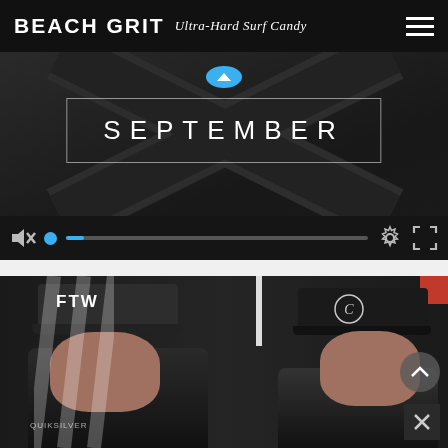BEACH GRIT Ultra-Hard Surf Candy
[Figure (screenshot): Video player showing dark background with X pattern overlay, a rectangle border with the word SEPTEMBER in large white letters, a blue play button above, and video controls bar at bottom with mute icon, blue progress dot on scrubber, settings gear icon, and fullscreen icon.]
[Figure (screenshot): Video screenshot of two men wearing baseball caps. Left man wears a dark cap with 'FTW' logo and Quiksilver apparel. Right man wears a black cap with circular logo. Back to top arrow button and X close button visible in bottom-right corner.]